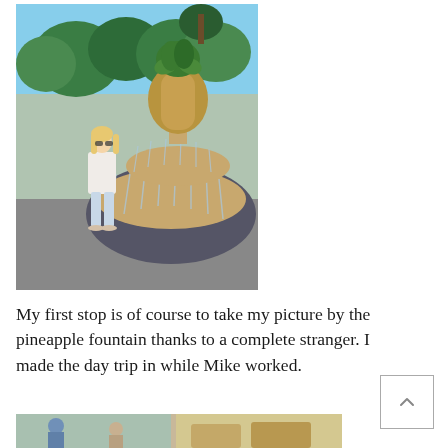[Figure (photo): A woman in white outfit standing in front of the Pineapple Fountain in Charleston, SC. The large tiered pineapple-shaped fountain with water cascading down is visible, surrounded by trees and a circular pool.]
My first stop is of course to take my picture by the pineapple fountain thanks to a complete stranger.  I made the day trip in while Mike worked.
[Figure (photo): Partial view of people seated at an outdoor or indoor restaurant/dining area, cut off at the bottom of the page.]